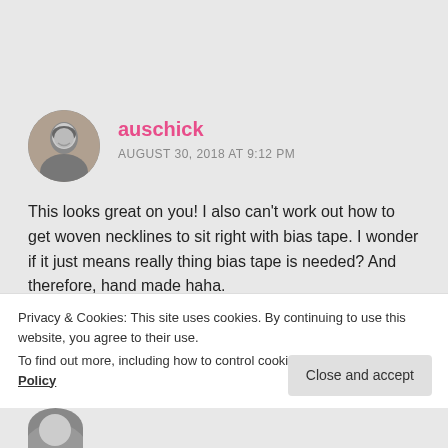[Figure (photo): Circular avatar photo of a woman in grayscale]
auschick
AUGUST 30, 2018 AT 9:12 PM
This looks great on you! I also can't work out how to get woven necklines to sit right with bias tape. I wonder if it just means really thing bias tape is needed? And therefore, hand made haha.
Liked by 1 person
Privacy & Cookies: This site uses cookies. By continuing to use this website, you agree to their use.
To find out more, including how to control cookies, see here: Cookie Policy
Close and accept